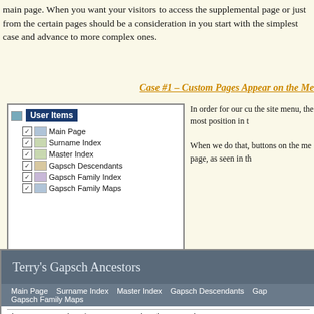main page. When you want your visitors to access the supplemental page or just from the certain pages should be a consideration in your design — start with the simplest case and advance to more complex ones.
Case #1 – Custom Pages Appear on the Me...
[Figure (screenshot): Screenshot of a website configuration panel showing 'User Items' tree with checkboxes for: Main Page, Surname Index, Master Index, Gapsch Descendants, Gapsch Family Index, Gapsch Family Maps. Alongside is text explaining how custom pages appear on site menu.]
[Figure (screenshot): Screenshot of website 'Terry's Gapsch Ancestors' showing navigation bar with: Main Page, Surname Index, Master Index, Gapsch Descendants, Gap... Gapsch Family Maps. Body text: 'This site contains the information I've gathered on my Fath...' and 'Please use the menu above to find the people of interest t...']